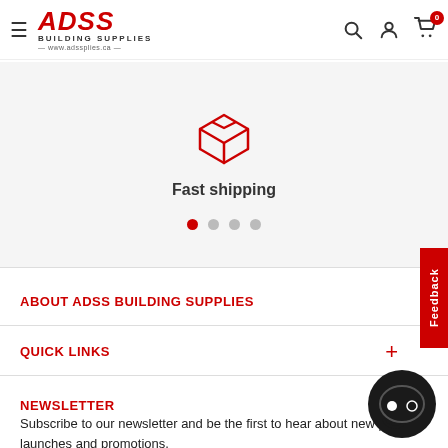ADSS Building Supplies — www.adsspplies.ca — Navigation header with search, account, and cart icons
[Figure (illustration): Red outlined box/package icon with 'Fast shipping' label and 4 navigation dots below (first dot active in red)]
ABOUT ADSS BUILDING SUPPLIES
QUICK LINKS
NEWSLETTER
Subscribe to our newsletter and be the first to hear about new product launches and promotions.